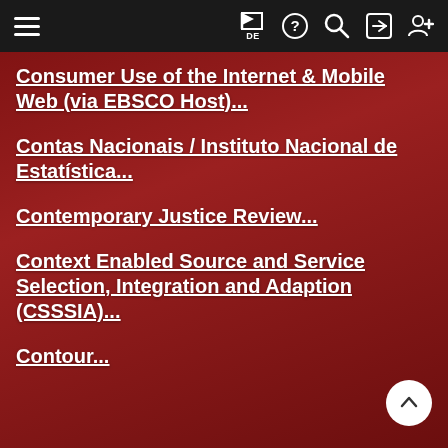Navigation bar with hamburger menu, flag/DE, help, search, login, and register icons
Consumer Use of the Internet & Mobile Web (via EBSCO Host)...
Contas Nacionais / Instituto Nacional de Estatística...
Contemporary Justice Review...
Context Enabled Source and Service Selection, Integration and Adaption (CSSSIA)...
Contour...